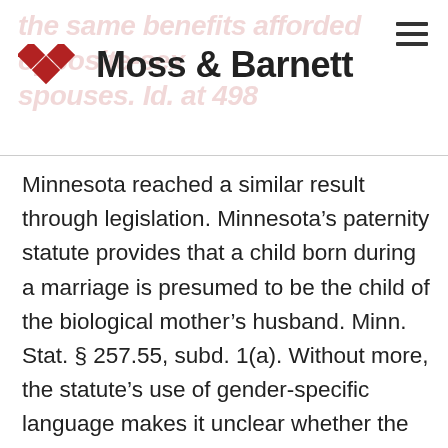the same benefits afforded opposite-sex spouses. Id. at 498 | Moss & Barnett
Minnesota reached a similar result through legislation. Minnesota’s paternity statute provides that a child born during a marriage is presumed to be the child of the biological mother’s husband. Minn. Stat. § 257.55, subd. 1(a). Without more, the statute’s use of gender-specific language makes it unclear whether the presumption applies to same-sex couples. To remedy this issue, Minnesota enacted a separate statute requiring courts to use